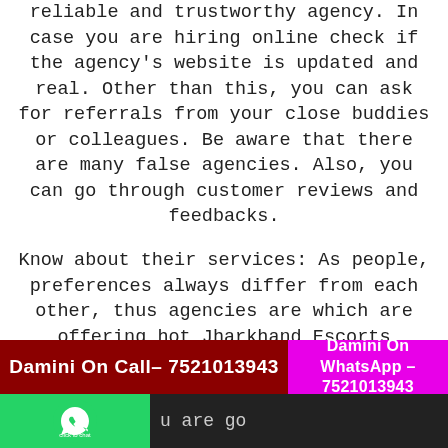reliable and trustworthy agency. In case you are hiring online check if the agency's website is updated and real. Other than this, you can ask for referrals from your close buddies or colleagues. Be aware that there are many false agencies. Also, you can go through customer reviews and feedbacks.
Know about their services: As people, preferences always differ from each other, thus agencies are which are offering hot Jharkhand Escorts services to attract more clients. Thus, you should make sure that the Jharkhand Escort Service in Jharkhand offered by the agency are the same as what you are looking, and meets your desire and taste. Your Budget and Priorities: While hiring Escort girls it is very important
Damini On Call– 7521013943 | Damini On WhatsApp – 7521013943